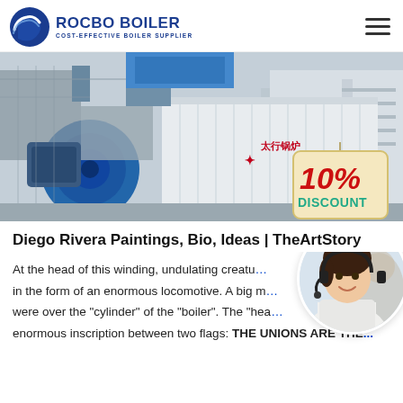ROCBO BOILER — COST-EFFECTIVE BOILER SUPPLIER
[Figure (photo): Industrial boiler equipment in a factory setting with a 10% DISCOUNT badge overlay]
Diego Rivera Paintings, Bio, Ideas | TheArtStory
At the head of this winding, undulating creature in the form of an enormous locomotive. A big m were over the "cylinder" of the "boiler". The "hea enormous inscription between two flags: THE UNIONS ARE THE...